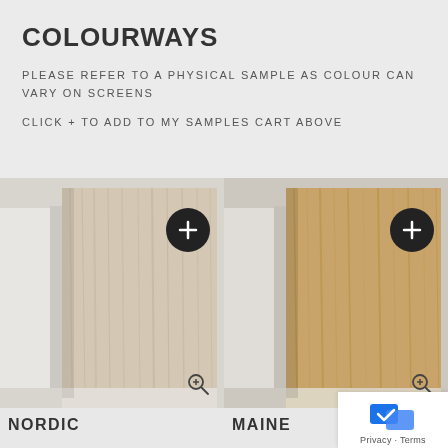COLOURWAYS
PLEASE REFER TO A PHYSICAL SAMPLE AS COLOUR CAN VARY ON SCREENS
CLICK + TO ADD TO MY SAMPLES CART ABOVE
[Figure (photo): Product swatch sample of Nordic wood finish — light pale wood grain texture on a panel displayed at an angle against white background, with a '+' add button and zoom icon]
NORDIC
[Figure (photo): Product swatch sample of Maine wood finish — medium warm golden-tan wood grain texture on a panel displayed at an angle against white background, with a '+' add button and zoom icon]
MAINE